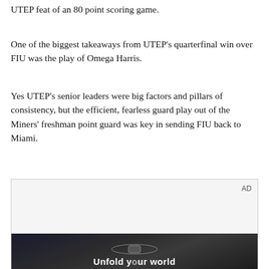UTEP feat of an 80 point scoring game.
One of the biggest takeaways from UTEP's quarterfinal win over FIU was the play of Omega Harris.
Yes UTEP's senior leaders were big factors and pillars of consistency, but the efficient, fearless guard play out of the Miners' freshman point guard was key in sending FIU back to Miami.
[Figure (photo): Advertisement area with 'AD' label. Below is a dark photo of a person holding a smartphone/device, with text 'Unfold your world' visible at the bottom.]